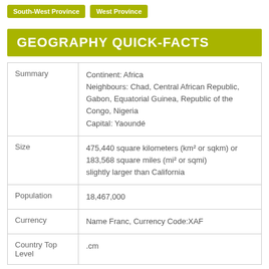South-West Province
West Province
GEOGRAPHY QUICK-FACTS
|  |  |
| --- | --- |
| Summary | Continent: Africa
Neighbours: Chad, Central African Republic, Gabon, Equatorial Guinea, Republic of the Congo, Nigeria
Capital: Yaoundé |
| Size | 475,440 square kilometers (km² or sqkm) or 183,568 square miles (mi² or sqmi)
slightly larger than California |
| Population | 18,467,000 |
| Currency | Name Franc, Currency Code:XAF |
| Country Top Level | .cm |